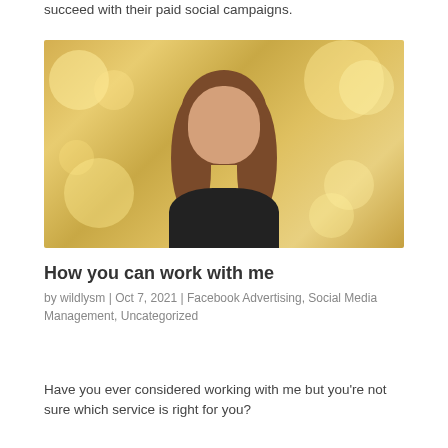succeed with their paid social campaigns.
[Figure (photo): Portrait photo of a woman with curly brown hair, smiling, against a golden bokeh background.]
How you can work with me
by wildlysm | Oct 7, 2021 | Facebook Advertising, Social Media Management, Uncategorized
Have you ever considered working with me but you're not sure which service is right for you?